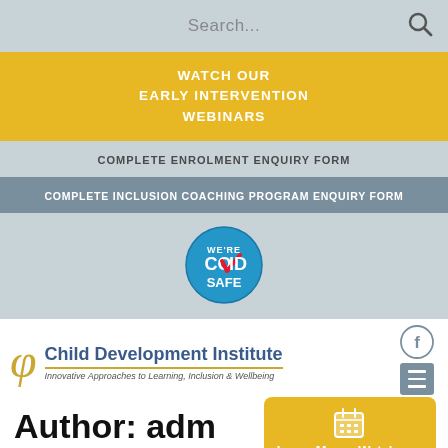Search...
WATCH OUR EARLY INTERVENTION WEBINARS
COMPLETE ENROLMENT ENQUIRY FORM
COMPLETE INCLUSION COACHING PROGRAM ENQUIRY FORM
[Figure (logo): COVID SAFE badge - circular blue badge with checkmark]
[Figure (logo): Child Development Institute logo with phi symbol and tagline: Innovative Approaches to Learning, Inclusion & Wellbeing]
Author: adm
Learn More - Watch our Early Intervention Webinars
How to help your child